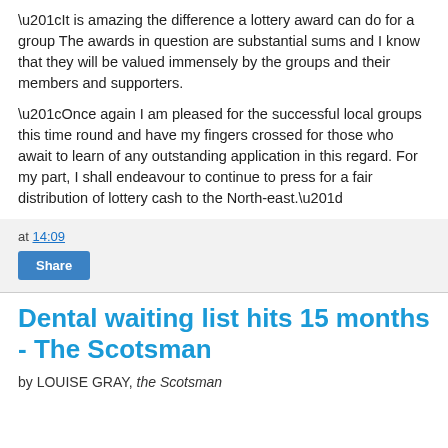“It is amazing the difference a lottery award can do for a group The awards in question are substantial sums and I know that they will be valued immensely by the groups and their members and supporters.

“Once again I am pleased for the successful local groups this time round and have my fingers crossed for those who await to learn of any outstanding application in this regard. For my part, I shall endeavour to continue to press for a fair distribution of lottery cash to the North-east.”
at 14:09
Share
Dental waiting list hits 15 months - The Scotsman
by LOUISE GRAY, the Scotsman